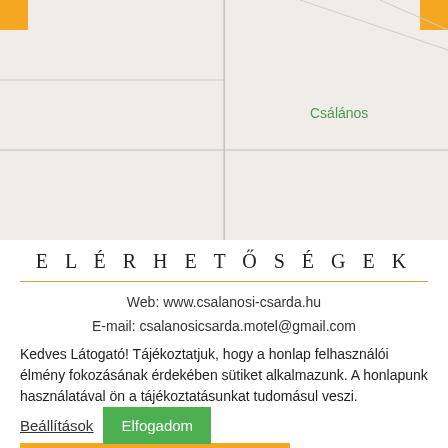[Figure (map): A partial street map showing roads on a light beige/grey background, with orange markers in top-left and top-right corners. A vertical road line runs through the center. The label 'Császáros' appears in green on the right side.]
ELÉRHETŐSÉGEK
Web: www.csalanosi-csarda.hu
E-mail: csalanosicsarda.motel@gmail.com
Kedves Látogató! Tájékoztatjuk, hogy a honlap felhasználói élmény fokozásának érdekében sütiket alkalmazunk. A honlapunk használatával ön a tájékoztatásunkat tudomásul veszi.
Beállítások
Elfogadom
Language/Sprache»